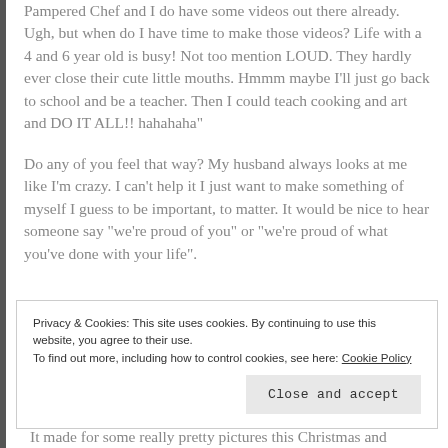Pampered Chef and I do have some videos out there already. Ugh, but when do I have time to make those videos? Life with a 4 and 6 year old is busy! Not too mention LOUD. They hardly ever close their cute little mouths. Hmmm maybe I'll just go back to school and be a teacher. Then I could teach cooking and art and DO IT ALL!! hahahaha"
Do any of you feel that way? My husband always looks at me like I'm crazy. I can't help it I just want to make something of myself I guess to be important, to matter. It would be nice to hear someone say “we’re proud of you” or “we’re proud of what you’ve done with your life”.
Privacy & Cookies: This site uses cookies. By continuing to use this website, you agree to their use. To find out more, including how to control cookies, see here: Cookie Policy
Close and accept
It made for some really pretty pictures this Christmas and